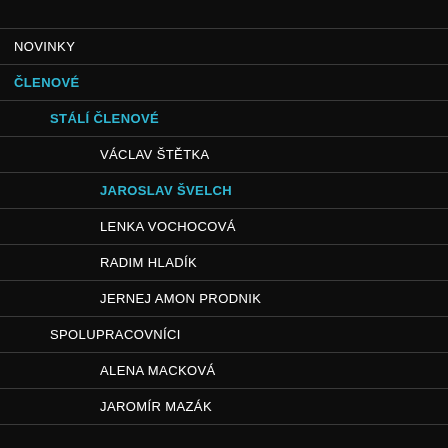NOVINKY
ČLENOVÉ
STÁLÍ ČLENOVÉ
VÁCLAV ŠTĚTKA
JAROSLAV ŠVELCH
LENKA VOCHOCOVÁ
RADIM HLADÍK
JERNEJ AMON PRODNIK
SPOLUPRACOVNÍCI
ALENA MACKOVÁ
JAROMÍR MAZÁK